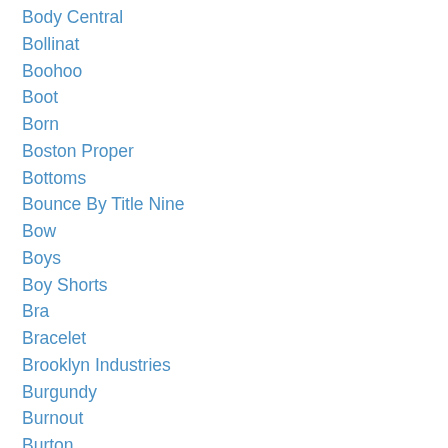Body Central
Bollinat
Boohoo
Boot
Born
Boston Proper
Bottoms
Bounce By Title Nine
Bow
Boys
Boy Shorts
Bra
Bracelet
Brooklyn Industries
Burgundy
Burnout
Burton
Butterfly Sleeve
Button-back
Button-back Cardigans
Calypso